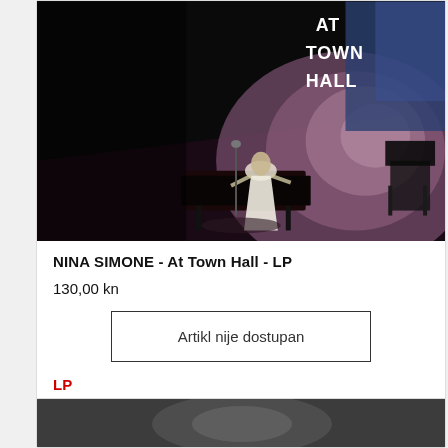[Figure (photo): Album cover photo of Nina Simone - At Town Hall LP. Dark background with text 'AT TOWN HALL' in white letters at top right. Stage scene with a performer in white dress at a piano, spotlight illuminating the stage with purple/blue lighting.]
NINA SIMONE - At Town Hall - LP
130,00 kn
Artikl nije dostupan
LP
[Figure (photo): Partial view of another album cover at the bottom of the page.]